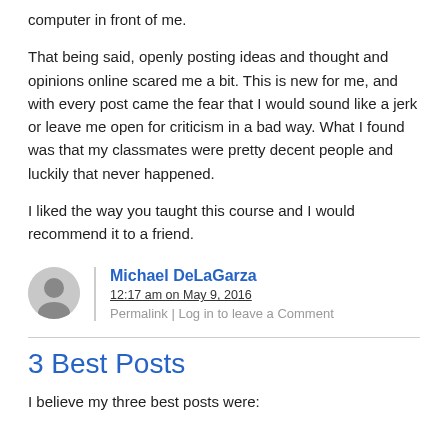computer in front of me.
That being said, openly posting ideas and thought and opinions online scared me a bit. This is new for me, and with every post came the fear that I would sound like a jerk or leave me open for criticism in a bad way. What I found was that my classmates were pretty decent people and luckily that never happened.
I liked the way you taught this course and I would recommend it to a friend.
Michael DeLaGarza
12:17 am on May 9, 2016
Permalink | Log in to leave a Comment
3 Best Posts
I believe my three best posts were: